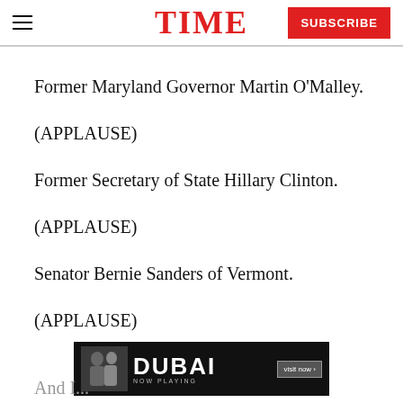TIME | SUBSCRIBE
Former Maryland Governor Martin O'Malley.
(APPLAUSE)
Former Secretary of State Hillary Clinton.
(APPLAUSE)
Senator Bernie Sanders of Vermont.
(APPLAUSE)
[Figure (other): Advertisement banner for DUBAI NOW PLAYING with two people and a visit now button]
And I...